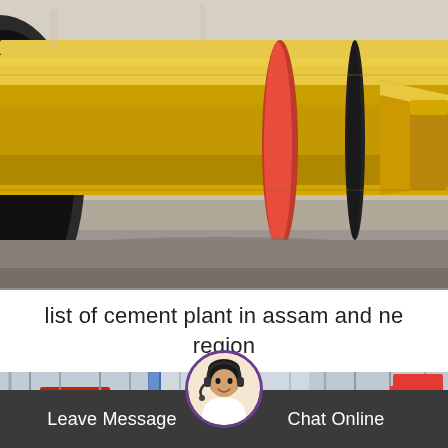[Figure (photo): Close-up photo of large yellow industrial cylindrical rotary kiln/drum equipment lying horizontally on a factory floor, showing yellow painted steel surface with red and black ring markings]
list of cement plant in assam and ne region
[Figure (photo): Wide-angle photo of industrial factory/warehouse interior showing structural steel framework, cranes, and industrial equipment]
Leave Message
Chat Online